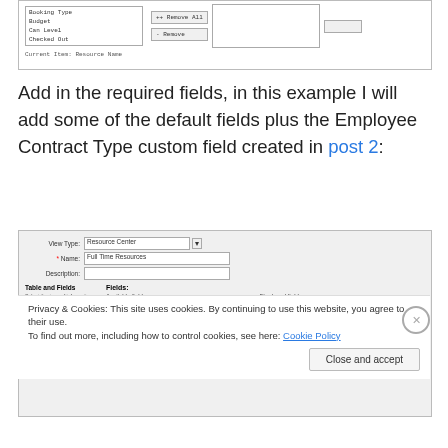[Figure (screenshot): Screenshot of a dialog box showing fields including Booking Type, Budget, Can Level, Checked Out, with Remove All and Remove buttons, and a listbox on the right]
Add in the required fields, in this example I will add some of the default fields plus the Employee Contract Type custom field created in post 2:
[Figure (screenshot): Screenshot of a view configuration dialog showing View Type: Resource Center, Name: Full Time Resources, Description field, Table and Fields section with Available fields list (Synchronize Out of Office Ever, Synchronize Tasks, Team Assignment Pool, Team Name, Timesheet Manager, Unique ID) and Displayed fields list (ID selected in blue, Resource Name, Email Address, Employee Contract Type, Generic, Active) with Add, Remove All, Remove, Up, Down buttons]
Privacy & Cookies: This site uses cookies. By continuing to use this website, you agree to their use.
To find out more, including how to control cookies, see here: Cookie Policy